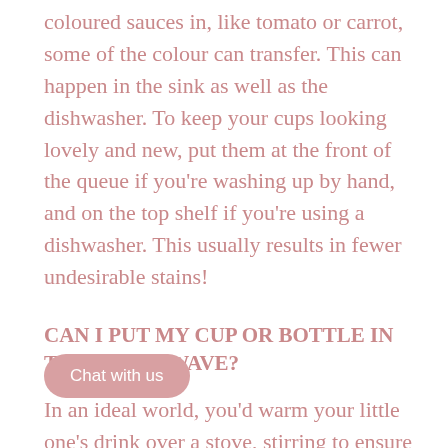coloured sauces in, like tomato or carrot, some of the colour can transfer. This can happen in the sink as well as the dishwasher. To keep your cups looking lovely and new, put them at the front of the queue if you're washing up by hand, and on the top shelf if you're using a dishwasher. This usually results in fewer undesirable stains!
CAN I PUT MY CUP OR BOTTLE IN THE MICROWAVE?
In an ideal world, you'd warm your little one's drink over a stove, stirring to ensure consistent heat th you'd pour it into their cup. In the re little one wants a warm drink, you're probably going to pour the milk or juice into